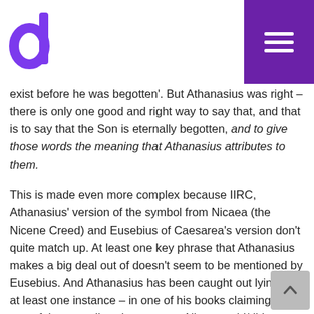Dialogue logo and navigation menu
exist before he was begotten'. But Athanasius was right – there is only one good and right way to say that, and that is to say that the Son is eternally begotten, and to give those words the meaning that Athanasius attributes to them.
This is made even more complex because IIRC, Athanasius' version of the symbol from Nicaea (the Nicene Creed) and Eusebius of Caesarea's version don't quite match up. At least one key phrase that Athanasius makes a big deal out of doesn't seem to be mentioned by Eusebius. And Athanasius has been caught out lying on at least one instance – in one of his books claiming that one of the councils subsequent to Nicaea said/did something that we know from elsewhere they didn't. His interpretation of Dionysius of Alexandria, a predecessor, is, shall we say, 'strained' to say the least in his attempts to show that Dionysius didn't hold the kind of views that Athanasius was attacking. But then Eusebius has some self-interest in this question as well.
All of which is to say that Nicaea clearly rejected Arius and his